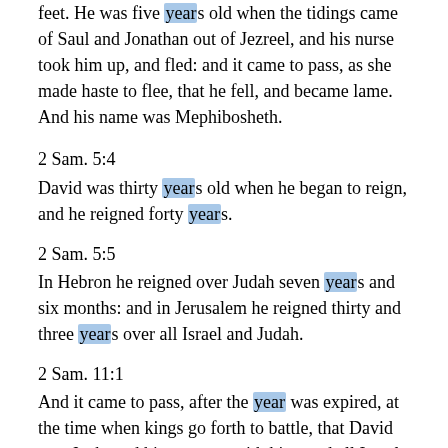feet. He was five years old when the tidings came of Saul and Jonathan out of Jezreel, and his nurse took him up, and fled: and it came to pass, as she made haste to flee, that he fell, and became lame. And his name was Mephibosheth.
2 Sam. 5:4
David was thirty years old when he began to reign, and he reigned forty years.
2 Sam. 5:5
In Hebron he reigned over Judah seven years and six months: and in Jerusalem he reigned thirty and three years over all Israel and Judah.
2 Sam. 11:1
And it came to pass, after the year was expired, at the time when kings go forth to battle, that David sent Joab, and his servants with him, and all Israel; and they destroyed the children of Ammon, and besieged Rabbah. But David tarried still at Jerusalem.
2 Sam. 13:23
And it came to pass after two full years, that Absalom had